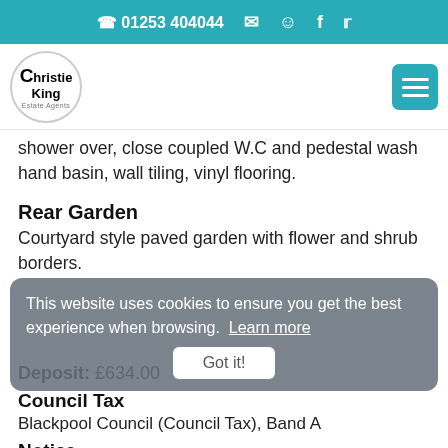📞 01253 404044  ✉  👤  f  🐦
[Figure (logo): Christie King Estate Agents logo — circular logo with text]
shower over, close coupled W.C and pedestal wash hand basin, wall tiling, vinyl flooring.
Rear Garden
Courtyard style paved garden with flower and shrub borders.
Deposit: £634.00
Council Tax
Blackpool Council (Council Tax), Band A
Notice
This website uses cookies to ensure you get the best experience when browsing.  Learn more